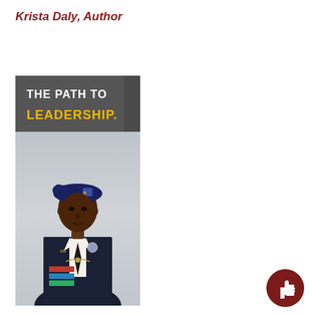Krista Daly, Author
[Figure (photo): Book cover showing a US Army officer in dress uniform wearing a blue beret with insignia, standing against a grey background. Text overlay reads 'THE PATH TO LEADERSHIP.' with 'LEADERSHIP.' in gold/yellow on a dark grey banner at the top.]
[Figure (illustration): Dark red circular thumbs-up icon button in the bottom right corner.]